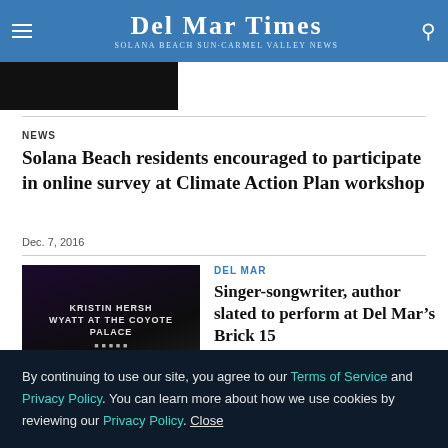Del Mar Times — Solana Beach Sun·Carmel Valley News
[Figure (photo): Partial image at top left, dark background]
NEWS
Solana Beach residents encouraged to participate in online survey at Climate Action Plan workshop
Dec. 7, 2016
[Figure (photo): Album cover or poster for Kristin Hersh – Wyatt at the Coyote Palace, dark background with white text]
DEL MAR
Singer-songwriter, author slated to perform at Del Mar&#8217;s Brick 15
Dec. 1, 2016
By continuing to use our site, you agree to our Terms of Service and Privacy Policy. You can learn more about how we use cookies by reviewing our Privacy Policy. Close